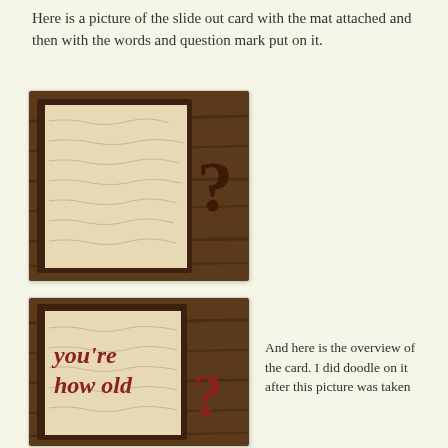Here is a picture of the slide out card with the mat attached and then with the words and question mark put on it.
[Figure (photo): Photo of a slide out card with a crinkled tan/cream mat attached, framed in dark brown, with a dark brown question mark shape on the right side, placed on a wooden surface.]
[Figure (photo): Photo of a card reading 'you're how old' in red letters on a crinkled cream mat with dark brown frame, and a red question mark on the right, on a wooden surface.]
And here is the overview of the card. I did doodle on it after this picture was taken